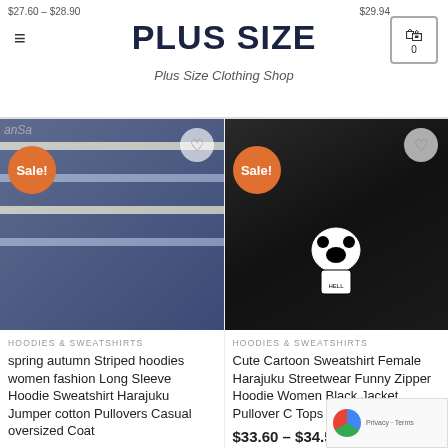PLUS SIZE — Plus Size Clothing Shop
$27.60 – $28.90
$29.94
[Figure (photo): Product photo of a striped navy/white oversized hoodie sweatshirt worn by a person, with a Sale! badge]
anSa
Sale!
[Figure (photo): Product photo of a dark black jacket with Hello Kitty graphic on the back, worn by a person with long braided hair, with a Sale! badge]
Sale!
HOODIES & SWEATSHIRTS
spring autumn Striped hoodies women fashion Long Sleeve Hoodie Sweatshirt Harajuku Jumper cotton Pullovers Casual oversized Coat
$25.44 – $26.60
HOODIES & SWEATSHIRTS
Cute Cartoon Sweatshirt Female Harajuku Streetwear Funny Zipper Hoodie Women Black Jacket Pullover C Tops Vintage Hoodie
$33.60 – $34.52